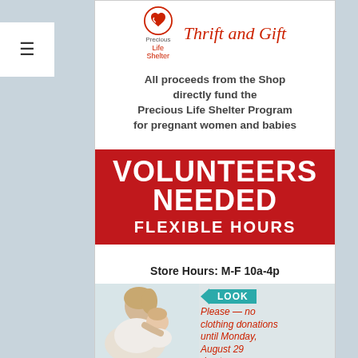[Figure (logo): Precious Life Shelter Thrift and Gift logo with circular heart icon and cursive text]
All proceeds from the Shop directly fund the Precious Life Shelter Program for pregnant women and babies
VOLUNTEERS NEEDED
FLEXIBLE HOURS
Store Hours: M-F 10a-4p
[Figure (photo): Mother holding and looking at baby]
LOOK
Please — no clothing donations until Monday, August 29 due to